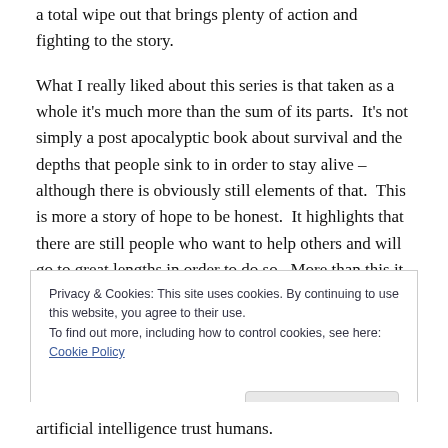a total wipe out that brings plenty of action and fighting to the story.
What I really liked about this series is that taken as a whole it's much more than the sum of its parts.  It's not simply a post apocalyptic book about survival and the depths that people sink to in order to stay alive – although there is obviously still elements of that.  This is more a story of hope to be honest.  It highlights that there are still people who want to help others and will go to great lengths in order to do so.  More than this it has to be the most unlikely love story you'll ever read – and to be clear
Privacy & Cookies: This site uses cookies. By continuing to use this website, you agree to their use.
To find out more, including how to control cookies, see here: Cookie Policy
artificial intelligence trust humans.